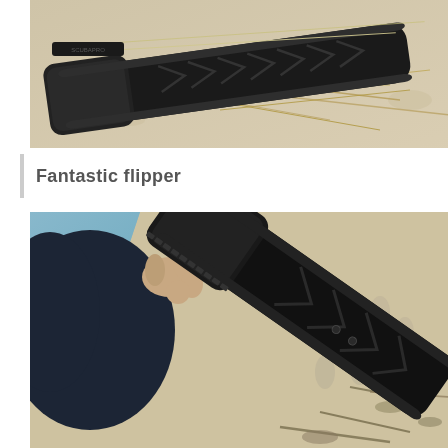[Figure (photo): A black rubber flipper/fin lying on sandy ground with some dry grass/straw scattered around it. The flipper has chevron/arrow tread patterns on its surface. Viewed from above.]
Fantastic flipper
[Figure (photo): A person wearing a dark wetsuit or jacket holding a black rubber flipper/fin. The flipper has chevron/arrow tread patterns. Background shows sandy beach with footprints and some seaweed debris. Close-up angled view.]